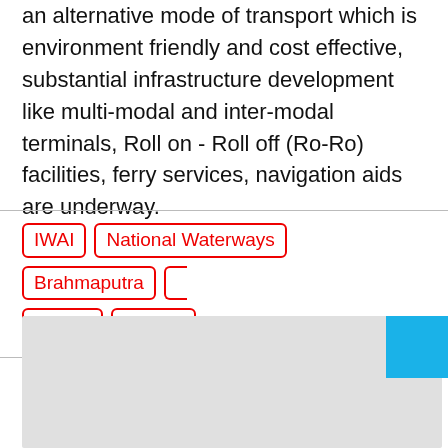an alternative mode of transport which is environment friendly and cost effective, substantial infrastructure development like multi-modal and inter-modal terminals, Roll on - Roll off (Ro-Ro) facilities, ferry services, navigation aids are underway.
IWAI | National Waterways | Brahmaputra | Ganga | Fly ash
[Figure (other): Grey image placeholder area with a blue square in the top-right corner]